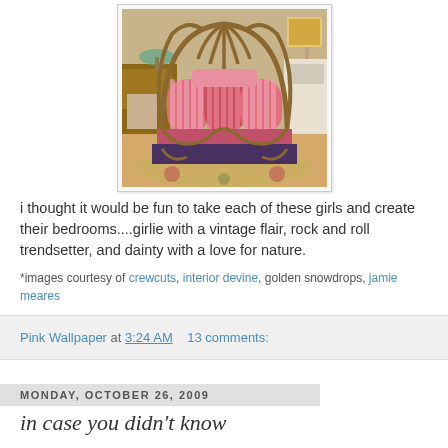[Figure (photo): Decorative vintage-style bed with ornate rattan/metal headboard featuring curved art nouveau design, pink and white striped upholstered panels, pink bedding, in a bedroom setting with wooden furniture and floral rug.]
i thought it would be fun to take each of these girls and create their bedrooms....girlie with a vintage flair, rock and roll trendsetter, and dainty with a love for nature.
*images courtesy of crewcuts, interior devine, golden snowdrops, jamie meares
Pink Wallpaper at 3:24 AM    13 comments:
Monday, October 26, 2009
in case you didn't know